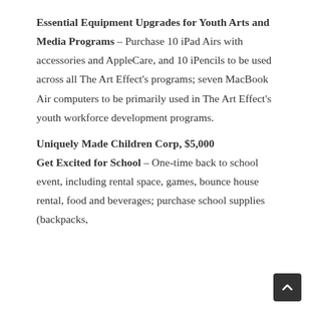Essential Equipment Upgrades for Youth Arts and Media Programs – Purchase 10 iPad Airs with accessories and AppleCare, and 10 iPencils to be used across all The Art Effect's programs; seven MacBook Air computers to be primarily used in The Art Effect's youth workforce development programs.
Uniquely Made Children Corp, $5,000
Get Excited for School – One-time back to school event, including rental space, games, bounce house rental, food and beverages; purchase school supplies (backpacks,